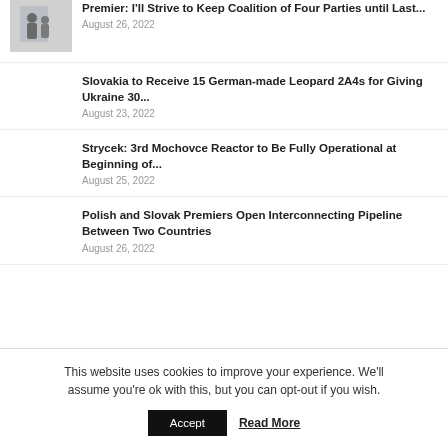[Figure (photo): Thumbnail photo showing two silhouetted figures near a window]
Premier: I'll Strive to Keep Coalition of Four Parties until Last...
August 26, 2022
Slovakia to Receive 15 German-made Leopard 2A4s for Giving Ukraine 30...
August 23, 2022
Strycek: 3rd Mochovce Reactor to Be Fully Operational at Beginning of...
August 25, 2022
Polish and Slovak Premiers Open Interconnecting Pipeline Between Two Countries
August 26, 2022
This website uses cookies to improve your experience. We'll assume you're ok with this, but you can opt-out if you wish.
Accept
Read More